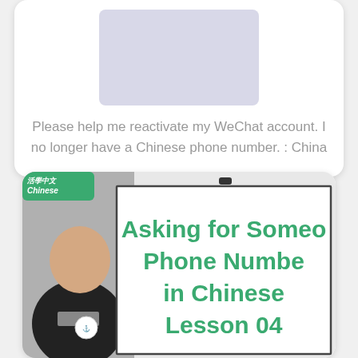[Figure (screenshot): Card with gray placeholder image and caption text below it]
Please help me reactivate my WeChat account. I no longer have a Chinese phone number. : China
[Figure (screenshot): Educational video thumbnail showing a teacher in front of a whiteboard with bold green text reading 'Asking for Someone's Phone Number in Chinese Lesson 04']